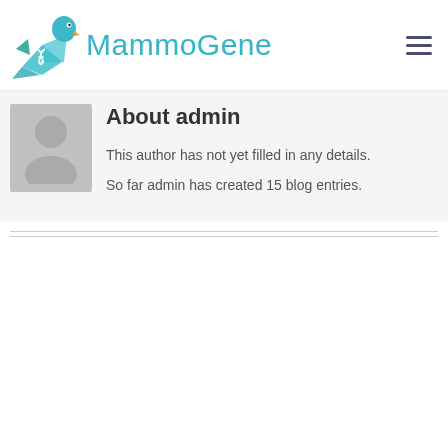[Figure (logo): MammoGene logo with teal bird/DNA icon and teal text 'MammoGene']
About admin
[Figure (illustration): Default gray avatar silhouette placeholder image]
This author has not yet filled in any details.
So far admin has created 15 blog entries.